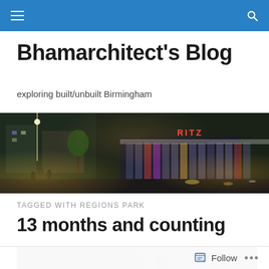Navigation bar with menu and search icons
Bhamarchitect's Blog
exploring built/unbuilt Birmingham
[Figure (photo): Nighttime street rendering of a modern glass-fronted building with illuminated signage reading RITZ, in an urban Birmingham downtown setting with cars and pedestrians]
TAGGED WITH REGIONS PARK
13 months and counting
[Figure (photo): Partial view of a building exterior photo, cropped at bottom of page]
Follow  •••